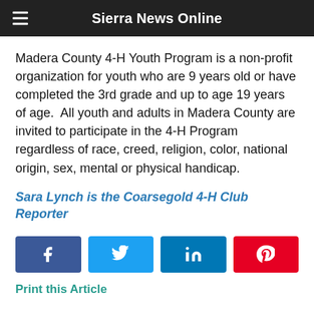Sierra News Online
Madera County 4-H Youth Program is a non-profit organization for youth who are 9 years old or have completed the 3rd grade and up to age 19 years of age.  All youth and adults in Madera County are invited to participate in the 4-H Program regardless of race, creed, religion, color, national origin, sex, mental or physical handicap.
Sara Lynch is the Coarsegold 4-H Club Reporter
[Figure (infographic): Social share buttons: Facebook, Twitter, LinkedIn, Pinterest]
Print this Article